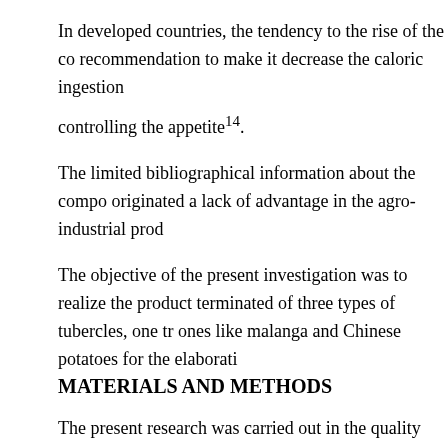In developed countries, the tendency to the rise of the co recommendation to make it decrease the caloric ingestion controlling the appetite14.
The limited bibliographical information about the compo originated a lack of advantage in the agro-industrial prod
The objective of the present investigation was to realize the product terminated of three types of tubercles, one tr ones like malanga and Chinese potatoes for the elaborati
MATERIALS AND METHODS
The present research was carried out in the quality and p Engineering career, the National University of Chimbora